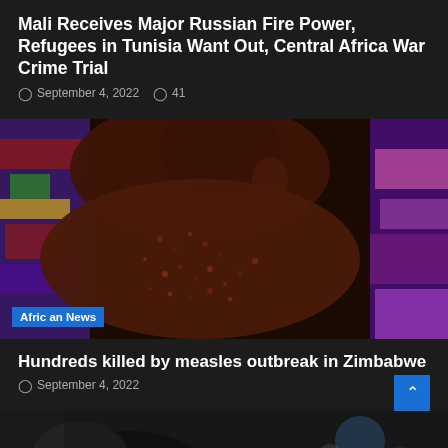Mali Receives Major Russian Fire Power, Refugees in Tunisia Want Out, Central Africa War Crime Trial
September 4, 2022  41
[Figure (photo): Close-up photo of a child showing measles rash symptoms on their back and skin, surrounded by colorful patterned fabric. An 'African News' label is overlaid in blue at the bottom left.]
Hundreds killed by measles outbreak in Zimbabwe
September 4, 2022
[Figure (photo): Partial photo of a person, dark image with light background elements visible at the bottom of the page.]